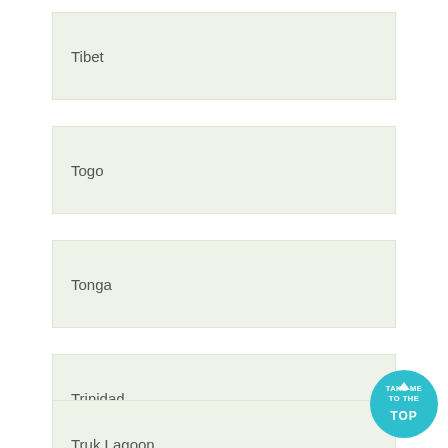Tibet
Togo
Tonga
Trinidad
Truk Lagoon
[Figure (logo): Circular teal badge with white text 'TAKE ME TO THE TOP' and an upward arrow]